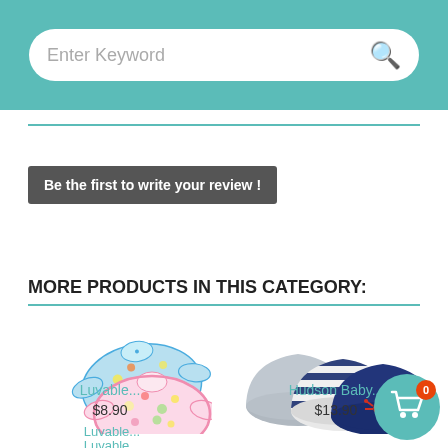Enter Keyword [search bar]
Be the first to write your review !
MORE PRODUCTS IN THIS CATEGORY:
[Figure (photo): Two colorful floral print baby bibs with long sleeves]
Luvable...
$8.90
[Figure (photo): Three baby winter hats: gray, navy striped, and dark navy with red crab emblem]
Hudson Baby...
$13.90